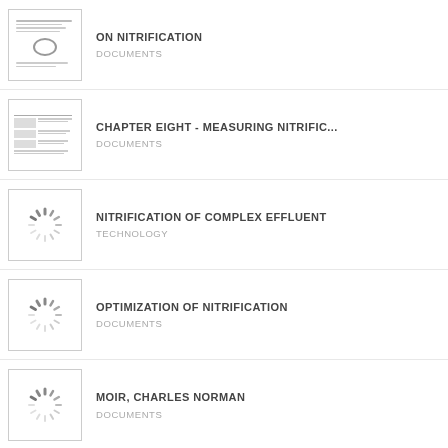ON NITRIFICATION
CHAPTER EIGHT - MEASURING NITRIFIC...
NITRIFICATION OF COMPLEX EFFLUENT
OPTIMIZATION OF NITRIFICATION
MOIR, CHARLES NORMAN